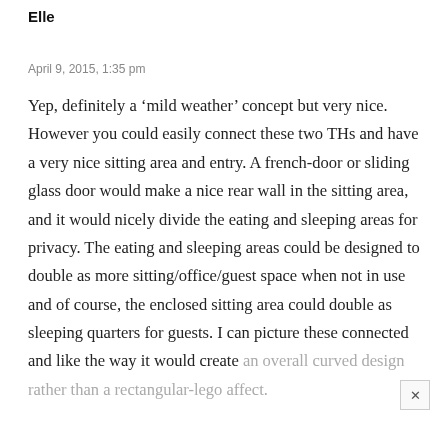Elle
April 9, 2015, 1:35 pm
Yep, definitely a ‘mild weather’ concept but very nice. However you could easily connect these two THs and have a very nice sitting area and entry. A french-door or sliding glass door would make a nice rear wall in the sitting area, and it would nicely divide the eating and sleeping areas for privacy. The eating and sleeping areas could be designed to double as more sitting/office/guest space when not in use and of course, the enclosed sitting area could double as sleeping quarters for guests. I can picture these connected and like the way it would create an overall curved design rather than a rectangular-lego affect.